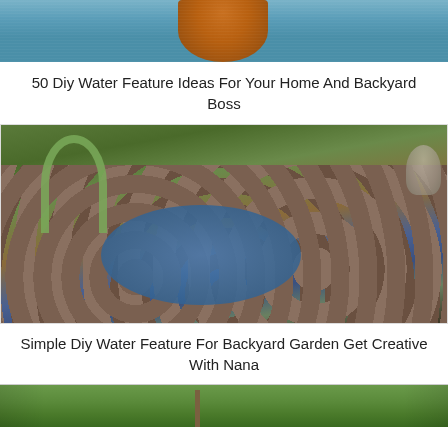[Figure (photo): Top portion of a garden water feature photo showing a pond/water body with an orange cylindrical fountain structure, partially cropped]
50 Diy Water Feature Ideas For Your Home And Backyard Boss
[Figure (photo): DIY backyard garden pond surrounded by large rounded rocks/boulders, lined with blue tarp, with white flower and green plants in background and a Buddha statue on the right]
Simple Diy Water Feature For Backyard Garden Get Creative With Nana
[Figure (photo): Bottom portion of another garden/backyard photo showing green trees and landscape, partially cropped at page bottom]